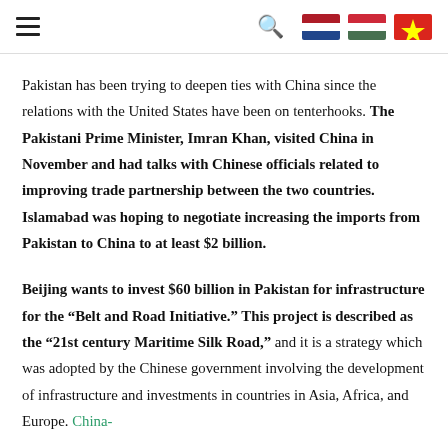[hamburger menu] [search icon] [Netherlands flag] [Hungary flag] [Vietnam flag]
Pakistan has been trying to deepen ties with China since the relations with the United States have been on tenterhooks. The Pakistani Prime Minister, Imran Khan, visited China in November and had talks with Chinese officials related to improving trade partnership between the two countries. Islamabad was hoping to negotiate increasing the imports from Pakistan to China to at least $2 billion.
Beijing wants to invest $60 billion in Pakistan for infrastructure for the “Belt and Road Initiative.” This project is described as the “21st century Maritime Silk Road,” and it is a strategy which was adopted by the Chinese government involving the development of infrastructure and investments in countries in Asia, Africa, and Europe. China-